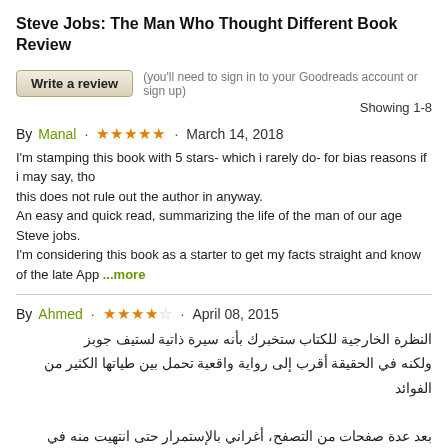Steve Jobs: The Man Who Thought Different Book Review
Write a review   (you'll need to sign in to your Goodreads account or sign up)
Showing 1-8
By Manal · ★★★★★ · March 14, 2018
I'm stamping this book with 5 stars- which i rarely do- for bias reasons if i may say, tho
this does not rule out the author in anyway.
An easy and quick read, summarizing the life of the man of our age Steve jobs.
I'm considering this book as a starter to get my facts straight and know of the late App ...more
By Ahmed · ★★★★☆ · April 08, 2015
النظرة الخارجية للكتاب ستخبرك بأنه سيرة ذاتية لستيف جوبز
ولكنه في الحقيقة أقرب إلى رواية واقعية تحمل بين طياتها الكثير من الفوائد

بعد عدة صفحات من التصفح، أغراني بالإستمرار حتى انتهيت منه في يومين

كتاب رائع يسرد لك قصة حياته بطريقة بسيطة جميلة مشوقة
...more  تجمع المؤلفة من مصادر عدة وتروي بدون مجاملات، السلبيات